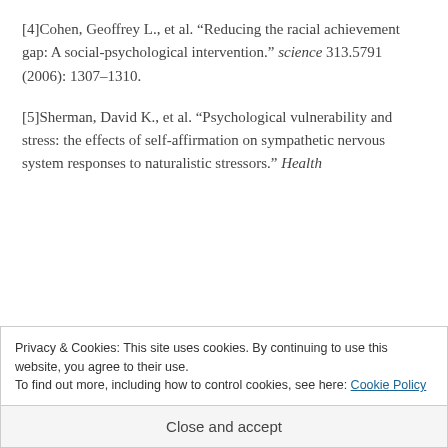[4]Cohen, Geoffrey L., et al. “Reducing the racial achievement gap: A social-psychological intervention.” science 313.5791 (2006): 1307–1310.
[5]Sherman, David K., et al. “Psychological vulnerability and stress: the effects of self-affirmation on sympathetic nervous system responses to naturalistic stressors.” Health
Privacy & Cookies: This site uses cookies. By continuing to use this website, you agree to their use.
To find out more, including how to control cookies, see here: Cookie Policy
Close and accept